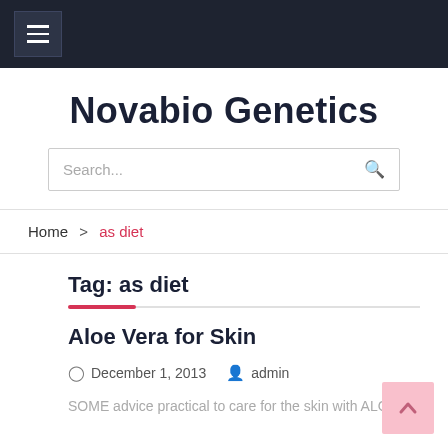Novabio Genetics — top navigation bar with hamburger menu
Novabio Genetics
Search...
Home > as diet
Tag: as diet
Aloe Vera for Skin
December 1, 2013   admin
SOME advice practical to care for the skin with ALOE